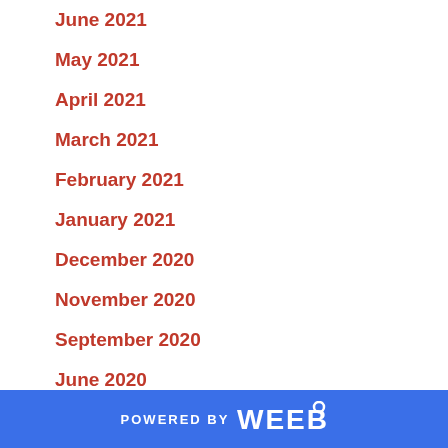June 2021
May 2021
April 2021
March 2021
February 2021
January 2021
December 2020
November 2020
September 2020
June 2020
POWERED BY weebly